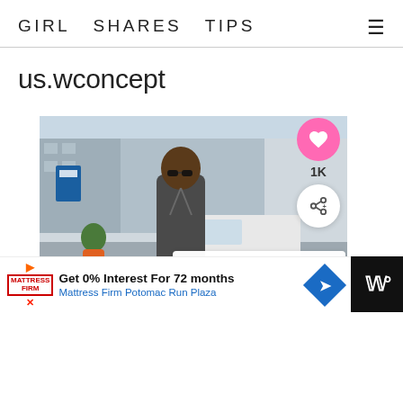GIRL SHARES TIPS
us.wconcept
[Figure (photo): Street style photo of a woman wearing sunglasses and a gray blazer, walking on a city street with blurred urban background. A What's Next card shows a thumbnail with text '20+ Best Blazer Outfit...']
WHAT'S NEXT → 20+ Best Blazer Outfit...
Get 0% Interest For 72 months
Mattress Firm Potomac Run Plaza